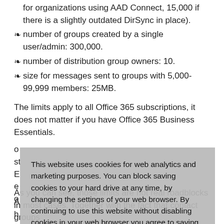for organizations using AAD Connect, 15,000 if there is a slightly outdated DirSync in place).
number of groups created by a single user/admin: 300,000.
number of distribution group owners: 10.
size for messages sent to groups with 5,000-99,999 members: 25MB.
The limits apply to all Office 365 subscriptions, it does not matter if you have Office 365 Business Essentials.
This website uses cookies for web analytics and marketing purposes. You can block saving cookies to your hard drive at any time, by changing the settings of your web browser. By continuing to use this website without disabling cookies in your web browser you agree to saving cookies to your hard drive. Learn more in our Privacy Policy.
As you can see, those limits are not real roadblocks in most cases. Together with the fact that contact groups